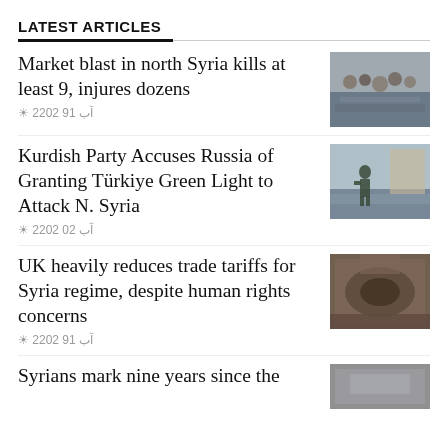LATEST ARTICLES
Market blast in north Syria kills at least 9, injures dozens
آب 19 2022 ☀
[Figure (photo): Crowd of people gathered outdoors on dusty ground]
Kurdish Party Accuses Russia of Granting Türkiye Green Light to Attack N. Syria
آب 20 2022 ☀
[Figure (photo): Soldier in military gear running outdoors]
UK heavily reduces trade tariffs for Syria regime, despite human rights concerns
آب 19 2022 ☀
[Figure (photo): Aerial or wide view of a building interior with gathering]
Syrians mark nine years since the